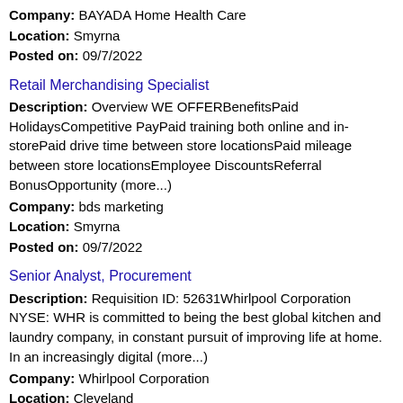Company: BAYADA Home Health Care
Location: Smyrna
Posted on: 09/7/2022
Retail Merchandising Specialist
Description: Overview WE OFFERBenefitsPaid HolidaysCompetitive PayPaid training both online and in-storePaid drive time between store locationsPaid mileage between store locationsEmployee DiscountsReferral BonusOpportunity (more...)
Company: bds marketing
Location: Smyrna
Posted on: 09/7/2022
Senior Analyst, Procurement
Description: Requisition ID: 52631Whirlpool Corporation NYSE: WHR is committed to being the best global kitchen and laundry company, in constant pursuit of improving life at home. In an increasingly digital (more...)
Company: Whirlpool Corporation
Location: Cleveland
Posted on: 09/7/2022
Get Paid to Test Products at Home, $25/hr to $45/hr. PT/FT. No Exp. Required